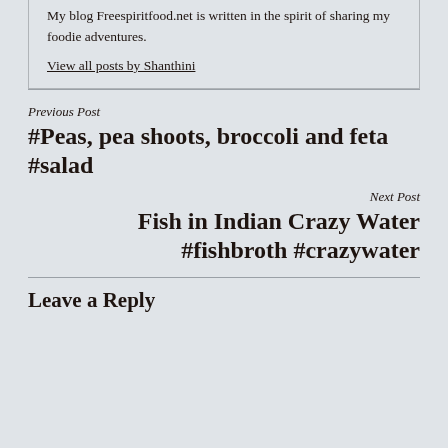My blog Freespiritfood.net is written in the spirit of sharing my foodie adventures.
View all posts by Shanthini
Previous Post
#Peas, pea shoots, broccoli and feta #salad
Next Post
Fish in Indian Crazy Water #fishbroth #crazywater
Leave a Reply